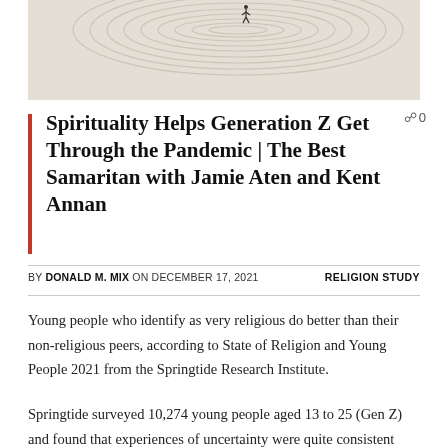[Figure (photo): Aerial view of a labyrinth drawn in sand with a small human figure visible near the top center of the spiral pattern]
Spirituality Helps Generation Z Get Through the Pandemic | The Best Samaritan with Jamie Aten and Kent Annan
BY DONALD M. MIX ON DECEMBER 17, 2021   RELIGION STUDY
Young people who identify as very religious do better than their non-religious peers, according to State of Religion and Young People 2021 from the Springtide Research Institute.
Springtide surveyed 10,274 young people aged 13 to 25 (Gen Z) and found that experiences of uncertainty were quite consistent